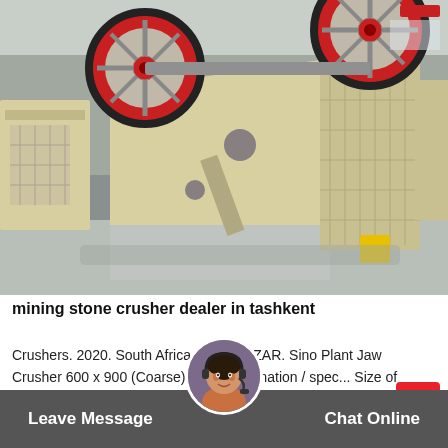[Figure (photo): Industrial jaw crusher machines in a factory/warehouse setting. Large cream/beige colored jaw crusher with prominent red and black flywheels in the foreground, with similar machines visible in the background. Concrete floor, industrial building structure visible.]
mining stone crusher dealer in tashkent
Crushers. 2020. South Africa. 189 525 ZAR. Sino Plant Jaw Crusher 600 x 900 (Coarse) Other information / spec... Size of Feed Port: 600 x 90... scharge Port Size: 65 +
Release Time:04-17